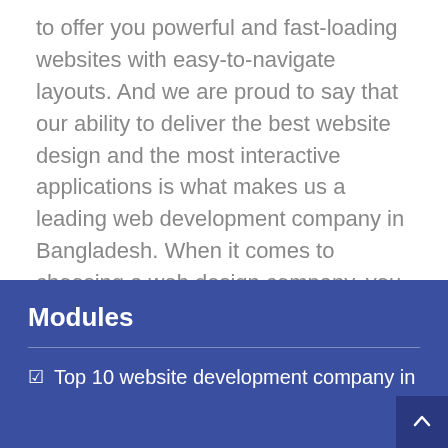to offer you powerful and fast-loading websites with easy-to-navigate layouts. And we are proud to say that our ability to deliver the best website design and the most interactive applications is what makes us a leading web development company in Bangladesh. When it comes to choosing a web design company, you think about a team of passionate and dedicated people who know what they are doing. And we know what we are doing – that is, giving you an excellent website.
Modules
☑ Top 10 website development company in